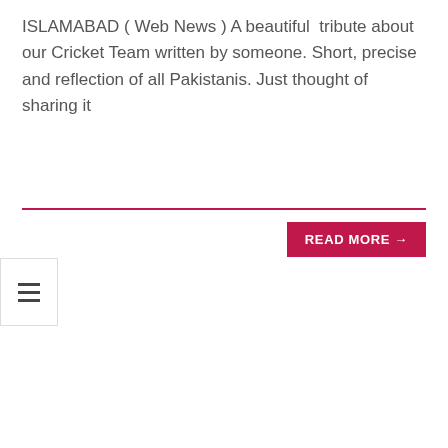ISLAMABAD ( Web News ) A beautiful tribute about our Cricket Team written by someone. Short, precise and reflection of all Pakistanis. Just thought of sharing it